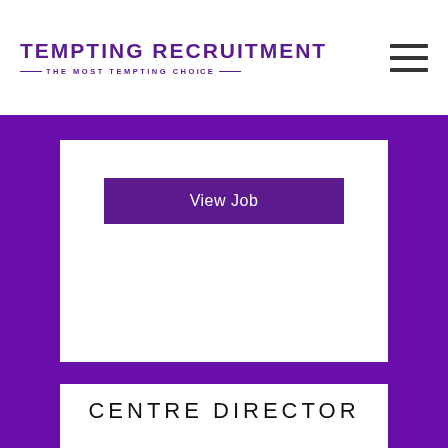TEMPTING RECRUITMENT — THE MOST TEMPTING CHOICE —
View Job
CENTRE DIRECTOR
16th August, 2022
Education & Child Care
Early Childhood – Other
Somerset